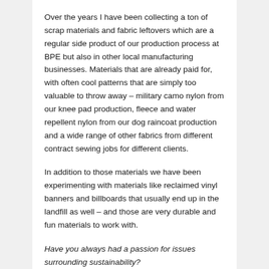Over the years I have been collecting a ton of scrap materials and fabric leftovers which are a regular side product of our production process at BPE but also in other local manufacturing businesses. Materials that are already paid for, with often cool patterns that are simply too valuable to throw away – military camo nylon from our knee pad production, fleece and water repellent nylon from our dog raincoat production and a wide range of other fabrics from different contract sewing jobs for different clients.
In addition to those materials we have been experimenting with materials like reclaimed vinyl banners and billboards that usually end up in the landfill as well – and those are very durable and fun materials to work with.
Have you always had a passion for issues surrounding sustainability?
Yes, but my desire to create something better and more meaningful has developed much stronger over the last